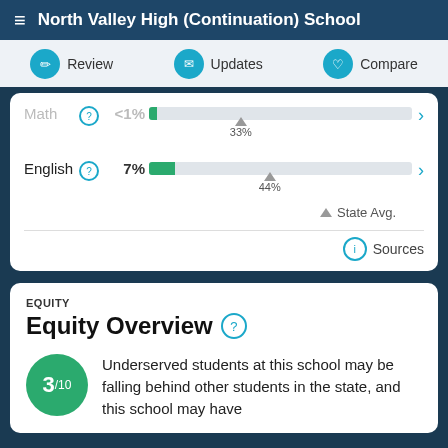North Valley High (Continuation) School
[Figure (infographic): Navigation bar with Review, Updates, Compare buttons]
[Figure (infographic): Test scores card showing Math <1% and state avg 33%, English 7% and state avg 44%, with progress bars and State Avg indicator. Sources link at bottom.]
EQUITY
Equity Overview
Underserved students at this school may be falling behind other students in the state, and this school may have
[Figure (infographic): Score badge showing 3/10 in green circle]